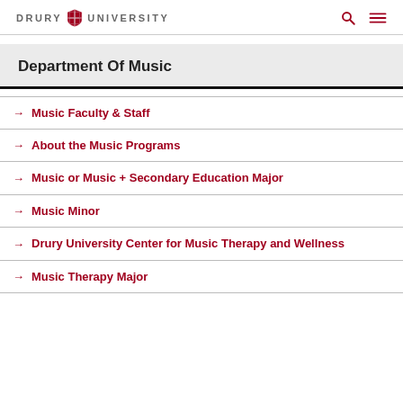DRURY UNIVERSITY
Department Of Music
Music Faculty & Staff
About the Music Programs
Music or Music + Secondary Education Major
Music Minor
Drury University Center for Music Therapy and Wellness
Music Therapy Major